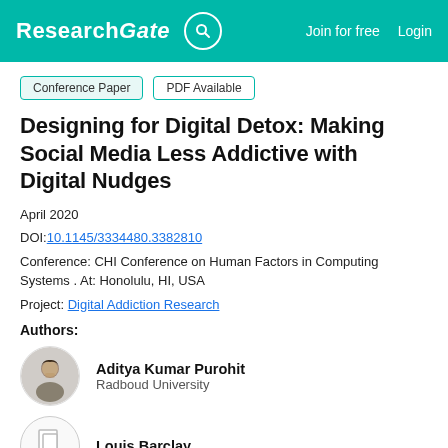ResearchGate  Join for free  Login
Conference Paper  PDF Available
Designing for Digital Detox: Making Social Media Less Addictive with Digital Nudges
April 2020
DOI:10.1145/3334480.3382810
Conference: CHI Conference on Human Factors in Computing Systems . At: Honolulu, HI, USA
Project: Digital Addiction Research
Authors:
Aditya Kumar Purohit
Radboud University
Louis Barclay